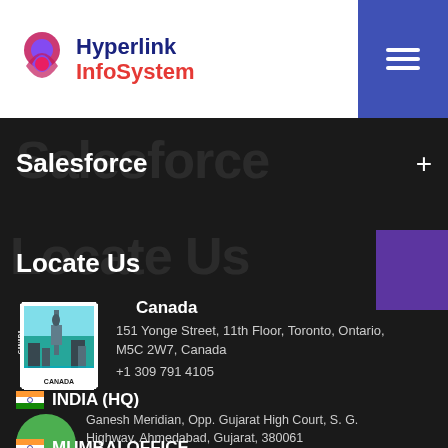Hyperlink InfoSystem
Salesforce
Locate Us
Canada
151 Yonge Street, 11th Floor, Toronto, Ontario, M5C 2W7, Canada
+1 309 791 4105
INDIA (HQ)
Ganesh Meridian, Opp. Gujarat High Court, S. G. Highway, Ahmedabad, Gujarat, 380061
+91 8000-161161
MUMBAI OFFICE